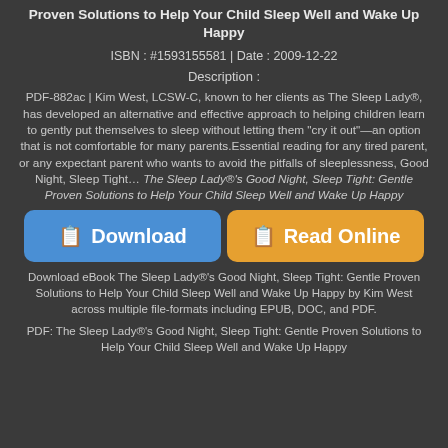Proven Solutions to Help Your Child Sleep Well and Wake Up Happy
ISBN : #1593155581 | Date : 2009-12-22
Description :
PDF-882ac | Kim West, LCSW-C, known to her clients as The Sleep Lady®, has developed an alternative and effective approach to helping children learn to gently put themselves to sleep without letting them "cry it out"—an option that is not comfortable for many parents.Essential reading for any tired parent, or any expectant parent who wants to avoid the pitfalls of sleeplessness, Good Night, Sleep Tight… The Sleep Lady®'s Good Night, Sleep Tight: Gentle Proven Solutions to Help Your Child Sleep Well and Wake Up Happy
[Figure (other): Two large buttons side by side: blue Download button and orange Read Online button]
Download eBook The Sleep Lady®'s Good Night, Sleep Tight: Gentle Proven Solutions to Help Your Child Sleep Well and Wake Up Happy by Kim West across multiple file-formats including EPUB, DOC, and PDF.
PDF: The Sleep Lady®'s Good Night, Sleep Tight: Gentle Proven Solutions to Help Your Child Sleep Well and Wake Up Happy